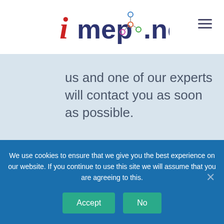[Figure (logo): imep.net logo with red italic i, dark blue 'mep' text, colorful network icon, and dark blue '.net' text]
us and one of our experts will contact you as soon as possible.
We use cookies to ensure that we give you the best experience on our website. If you continue to use this site we will assume that you are agreeing to this.